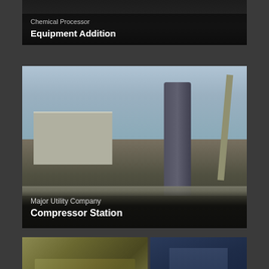[Figure (photo): Top portion of a chemical processor equipment addition photo, partially cropped at top of page, dark industrial setting]
Chemical Processor
Equipment Addition
[Figure (photo): Construction site with large pressure vessel or compressor being lifted by crane, workers in orange hi-vis vests, industrial building and smokestacks in background, overcast sky]
Major Utility Company
Compressor Station
[Figure (photo): Two side-by-side photos: left shows heavily corroded or fire-damaged industrial equipment with insulation damage; right shows close-up of corroded blue metal pipe or vessel surface]